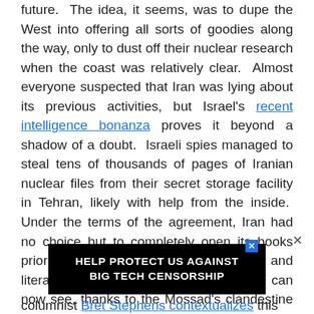future.  The idea, it seems, was to dupe the West into offering all sorts of goodies along the way, only to dust off their nuclear research when the coast was relatively clear.  Almost everyone suspected that Iran was lying about its previous activities, but Israel's recent intelligence bonanza proves it beyond a shadow of a doubt.  Israeli spies managed to steal tens of thousands of pages of Iranian nuclear files from their secret storage facility in Tehran, likely with help from the inside.  Under the terms of the agreement, Iran had no choice but to completely open its books prior to ratification.  Instead, they lied and literally hid their books, which the world can now see, thanks to the Mossad's clandestine efforts.  This puts the lie to the oft-repeated refrain that Iran
[Figure (other): Advertisement banner: black background with white bold text reading 'HELP PROTECT US AGAINST BIG TECH CENSORSHIP' with a blue X close button]
columnist Bret Stephens contextualizes this well: